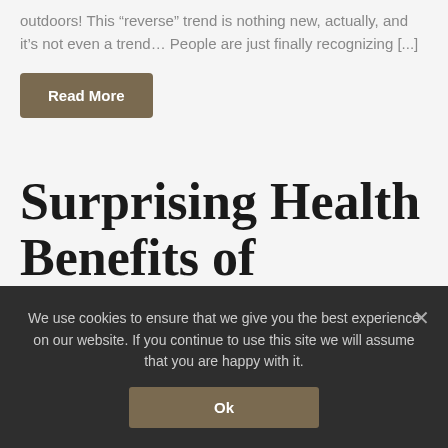outdoors! This “reverse” trend is nothing new, actually, and it’s not even a trend… People are just finally recognizing [...]
Read More
Surprising Health Benefits of Creating the Perfect Outdoor Living Space
We use cookies to ensure that we give you the best experience on our website. If you continue to use this site we will assume that you are happy with it.
Ok